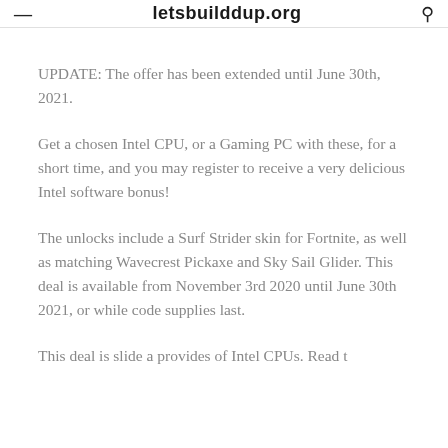letsbuilddup.org
UPDATE: The offer has been extended until June 30th, 2021.
Get a chosen Intel CPU, or a Gaming PC with these, for a short time, and you may register to receive a very delicious Intel software bonus!
The unlocks include a Surf Strider skin for Fortnite, as well as matching Wavecrest Pickaxe and Sky Sail Glider. This deal is available from November 3rd 2020 until June 30th 2021, or while code supplies last.
This deal is slide...provides of Intel CPUs. Read t...